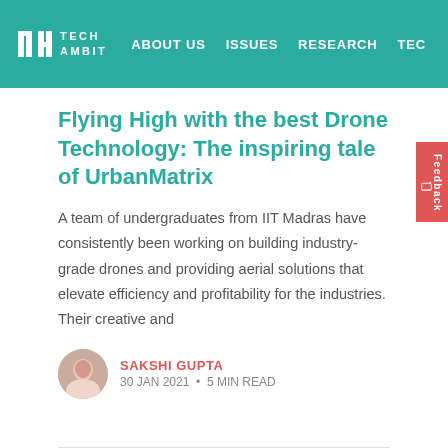IIT TECH AMBIT | ABOUT US | ISSUES | RESEARCH | TEC…
Flying High with the best Drone Technology: The inspiring tale of UrbanMatrix
A team of undergraduates from IIT Madras have consistently been working on building industry-grade drones and providing aerial solutions that elevate efficiency and profitability for the industries. Their creative and
SAKSHI GUPTA
30 JAN 2021 • 5 MIN READ
IIT KHARAGPUR
Tech Talks with Dr Aleknath De, CTO